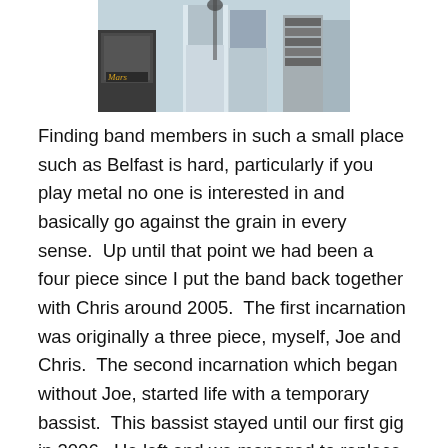[Figure (photo): Two people standing together in what appears to be a music rehearsal or studio setting, with a Marshall amplifier visible on the left side of the image.]
Finding band members in such a small place such as Belfast is hard, particularly if you play metal no one is interested in and basically go against the grain in every sense.  Up until that point we had been a four piece since I put the band back together with Chris around 2005.  The first incarnation was originally a three piece, myself, Joe and Chris.  The second incarnation which began without Joe, started life with a temporary bassist.  This bassist stayed until our first gig in 2006.  He left and we managed to replace him right away with Stevie.  Stevie was our longest remaining bass player.  Had he not joined when he did, we may not have continued as it just seemed to be so